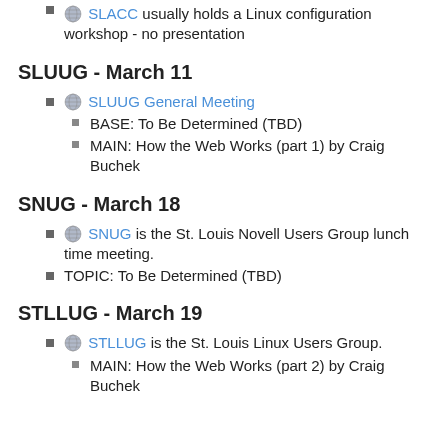SLACC usually holds a Linux configuration workshop - no presentation
SLUUG - March 11
SLUUG General Meeting
BASE: To Be Determined (TBD)
MAIN: How the Web Works (part 1) by Craig Buchek
SNUG - March 18
SNUG is the St. Louis Novell Users Group lunch time meeting.
TOPIC: To Be Determined (TBD)
STLLUG - March 19
STLLUG is the St. Louis Linux Users Group.
MAIN: How the Web Works (part 2) by Craig Buchek